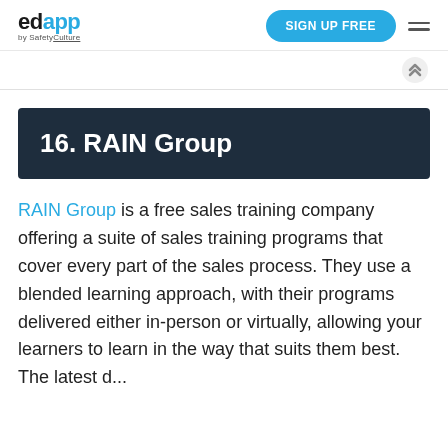edapp by SafetyCulture | SIGN UP FREE
16. RAIN Group
RAIN Group is a free sales training company offering a suite of sales training programs that cover every part of the sales process. They use a blended learning approach, with their programs delivered either in-person or virtually, allowing your learners to learn in the way that suits them best. The latest...